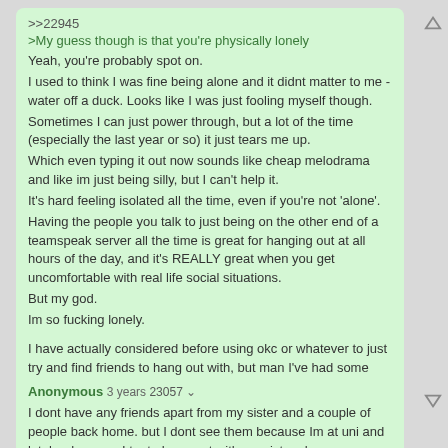>>22945
>My guess though is that you're physically lonely
Yeah, you're probably spot on.
I used to think I was fine being alone and it didnt matter to me - water off a duck.  Looks like I was just fooling myself though.
Sometimes I can just power through, but a lot of the time (especially the last year or so) it just tears me up.
Which even typing it out now sounds like cheap melodrama and like im just being silly, but I can't help it.
It's hard feeling isolated all the time, even if you're not 'alone'.
Having the people you talk to just being on the other end of a teamspeak server all the time is great for hanging out at all hours of the day, and it's REALLY great when you get uncomfortable with real life social situations.
But my god.
Im so fucking lonely.

I have actually considered before using okc or whatever to just try and find friends to hang out with, but man I've had some really awful experiences with online dating platforms.
Not least of which are guys who are just really bad at taking 'no' for an answer.  Aint nobody got time for that.
I just wish my internet buddies lived near me.  It really would be the greatest.
Anonymous 3 years 23057
I dont have any friends apart from my sister and a couple of people back home. but I dont see them because Im at uni and lately whenever I try to hang out with my sister she